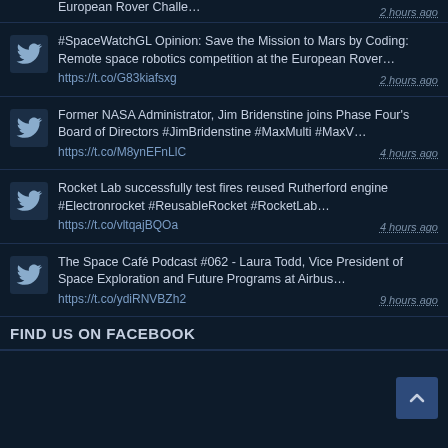European Rover Challe…  2 hours ago
#SpaceWatchGL Opinion: Save the Mission to Mars by Coding: Remote space robotics competition at the European Rover… https://t.co/G83kiafsxg  2 hours ago
Former NASA Administrator, Jim Bridenstine joins Phase Four's Board of Directors #JimBridenstine #MaxMulti #MaxV… https://t.co/M8ynEFnLlC  4 hours ago
Rocket Lab successfully test fires reused Rutherford engine #Electronrocket #ReusableRocket #RocketLab… https://t.co/vltqajBQOa  4 hours ago
The Space Café Podcast #062 - Laura Todd, Vice President of Space Exploration and Future Programs at Airbus… https://t.co/ydiRNVBZh2  9 hours ago
FIND US ON FACEBOOK